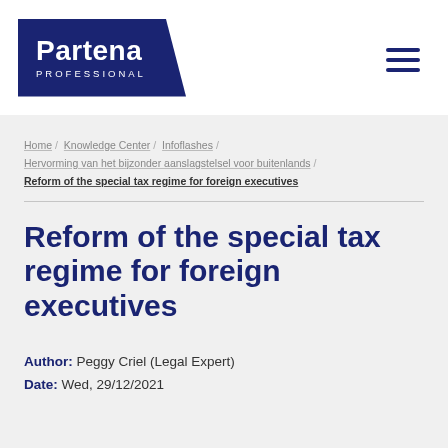[Figure (logo): Partena Professional logo — dark navy blue parallelogram shape with white text 'Partena' large and 'PROFESSIONAL' in small caps below]
Home / Knowledge Center / Infoflashes / Hervorming van het bijzonder aanslagstelsel voor buitenlands / Reform of the special tax regime for foreign executives
Reform of the special tax regime for foreign executives
Author: Peggy Criel (Legal Expert)
Date: Wed, 29/12/2021